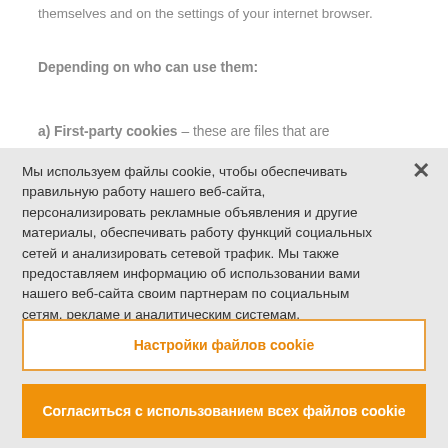themselves and on the settings of your internet browser.
Depending on who can use them:
a) First-party cookies – these are files that are
Мы используем файлы cookie, чтобы обеспечивать правильную работу нашего веб-сайта, персонализировать рекламные объявления и другие материалы, обеспечивать работу функций социальных сетей и анализировать сетевой трафик. Мы также предоставляем информацию об использовании вами нашего веб-сайта своим партнерам по социальным сетям, рекламе и аналитическим системам.
Настройки файлов cookie
Согласиться с использованием всех файлов cookie